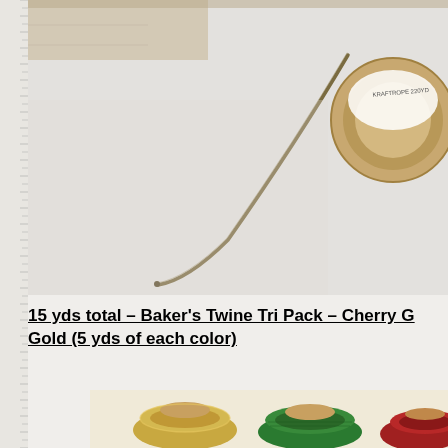[Figure (photo): Photo of a spool of twine/baker's twine with a single strand extending diagonally from upper-right spool to lower-left, on a white background. Spool has a wooden core with a white label.]
15 yds total – Baker's Twine Tri Pack – Cherry Gold (5 yds of each color)
[Figure (photo): Photo showing multiple spools of baker's twine in different colors: gold/tan, green, and red/cherry, with shiny metallic thread texture.]